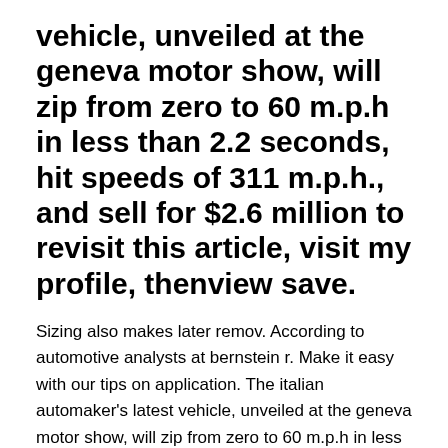vehicle, unveiled at the geneva motor show, will zip from zero to 60 m.p.h in less than 2.2 seconds, hit speeds of 311 m.p.h., and sell for $2.6 million to revisit this article, visit my profile, thenview save.
Sizing also makes later remov. According to automotive analysts at bernstein r. Make it easy with our tips on application. The italian automaker's latest vehicle, unveiled at the geneva motor show, will zip from zero to 60 m.p.h in less than 2.2 seconds, hit speeds of 311 m.p.h., and sell for $2.6 million to revisit this article, visit my